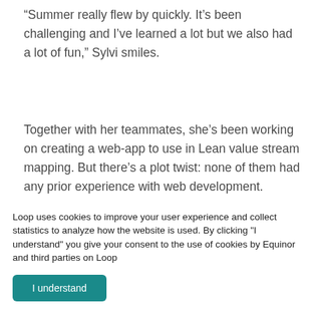“Summer really flew by quickly. It’s been challenging and I’ve learned a lot but we also had a lot of fun,” Sylvi smiles.
Together with her teammates, she’s been working on creating a web-app to use in Lean value stream mapping. But there’s a plot twist: none of them had any prior experience with web development.
“In the beginning we were quite…
Loop uses cookies to improve your user experience and collect statistics to analyze how the website is used. By clicking "I understand" you give your consent to the use of cookies by Equinor and third parties on Loop
I understand